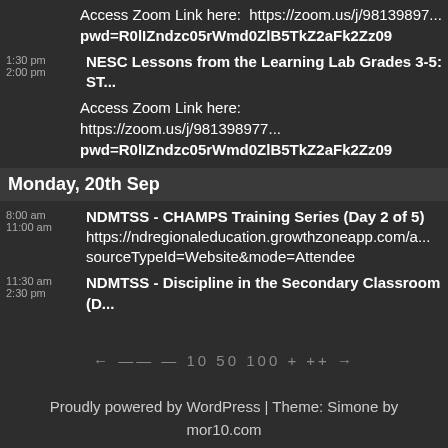Access Zoom Link here: https://zoom.us/j/98139897... pwd=R0lIZndzc05rWmd0ZlB5TkZ2aFk2Zz09
1:30 pm
2:00 pm
NESC Lessons from the Learning Lab Grades 3-5: ST...
Access Zoom Link here: https://zoom.us/j/98139897... pwd=R0lIZndzc05rWmd0ZlB5TkZ2aFk2Zz09
Monday, 20th Sep
8:00 am
11:00 am
NDMTSS - CHAMPS Training Series (Day 2 of 5)
https://ndregionaleducation.growthzoneapp.com/ap... sourceTypeId=Website&mode=Attendee
11:30 am
2:30 pm
NDMTSS - Discipline in the Secondary Classroom (D...
← —— — 10 50 100 + ++ →
Proudly powered by WordPress | Theme: Simone by mor10.com